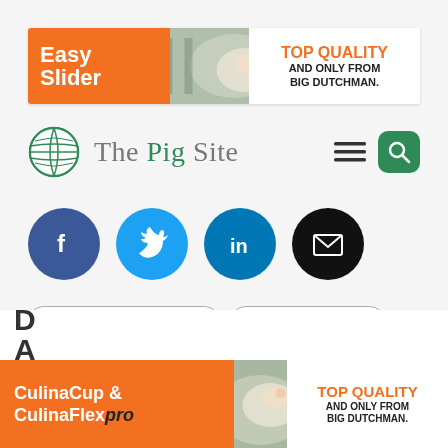[Figure (infographic): Top banner advertisement for Big Dutchman Easy Slider product with pig photo and orange/white design]
[Figure (logo): The Pig Site logo with green globe icon and site name, hamburger menu and search button on right]
[Figure (infographic): Social media share icons: Facebook (blue), Twitter (light blue), LinkedIn (blue), Email (black)]
Government and regulatory
Policy and regulation
Industry and legislation
[Figure (infographic): Bottom banner advertisement for Big Dutchman CulinaCup & CulinaFlexpro with pig photo. Partially cut text 'D... A...' visible above.]